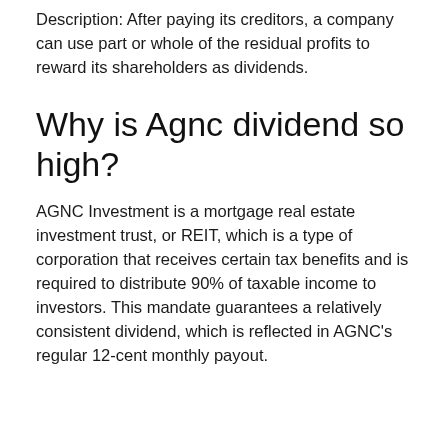Description: After paying its creditors, a company can use part or whole of the residual profits to reward its shareholders as dividends.
Why is Agnc dividend so high?
AGNC Investment is a mortgage real estate investment trust, or REIT, which is a type of corporation that receives certain tax benefits and is required to distribute 90% of taxable income to investors. This mandate guarantees a relatively consistent dividend, which is reflected in AGNC's regular 12-cent monthly payout.